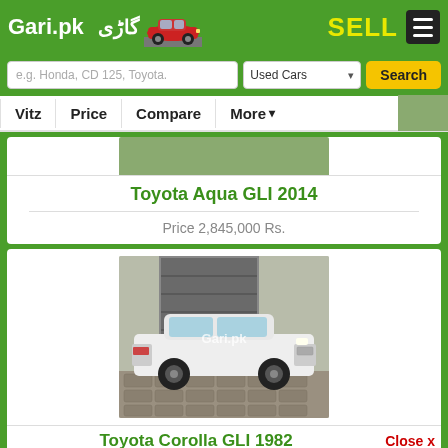Gari.pk  گاڑی  SELL
e.g. Honda, CD 125, Toyota.  Used Cars  Search
Vitz | Price | Compare | More
[Figure (photo): Partial top image of a car listing]
Toyota Aqua GLI 2014
Price 2,845,000 Rs.
[Figure (photo): Photo of a white Toyota Corolla GLI 1982 with Gari.pk watermark]
Toyota Corolla GLI 1982
Close x
Used Car | New Car | Vehicles | Used | New Bike | Used Bike | Compare Car | Compare Bike | Honda Civic 2022